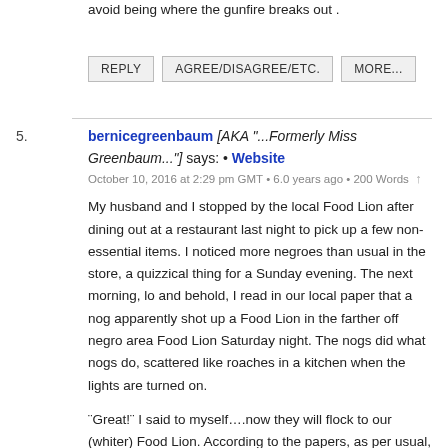avoid being where the gunfire breaks out .
REPLY   AGREE/DISAGREE/ETC.   MORE...
5. bernicegreenbaum [AKA "...Formerly Miss Greenbaum..."] says: • Website
October 10, 2016 at 2:29 pm GMT • 6.0 years ago • 200 Words

My husband and I stopped by the local Food Lion after dining out at a restaurant last night to pick up a few non-essential items. I noticed more negroes than usual in the store, a quizzical thing for a Sunday evening. The next morning, lo and behold, I read in our local paper that a nog apparently shot up a Food Lion in the farther off negro area Food Lion Saturday night. The nogs did what nogs do, scattered like roaches in a kitchen when the lights are turned on.

¨Great!¨ I said to myself….now they will flock to our (whiter) Food Lion. According to the papers, as per usual, the customers ¨din see nuffins¨, so the cops have no where to go with the investigation. Mentioned it over coffee with my husband this morning and he said his suggestion is I then said "Call...